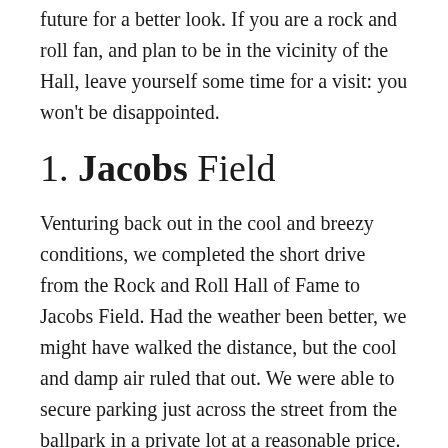future for a better look. If you are a rock and roll fan, and plan to be in the vicinity of the Hall, leave yourself some time for a visit: you won't be disappointed.
1. Jacobs Field
Venturing back out in the cool and breezy conditions, we completed the short drive from the Rock and Roll Hall of Fame to Jacobs Field. Had the weather been better, we might have walked the distance, but the cool and damp air ruled that out. We were able to secure parking just across the street from the ballpark in a private lot at a reasonable price.
We performed our typical tour around the outside of the park, but the weather curtailed our walk. Ducking inside the stadium at the home plate entrance, we were greeted by a nearly empty park. Once inside, we had access to the